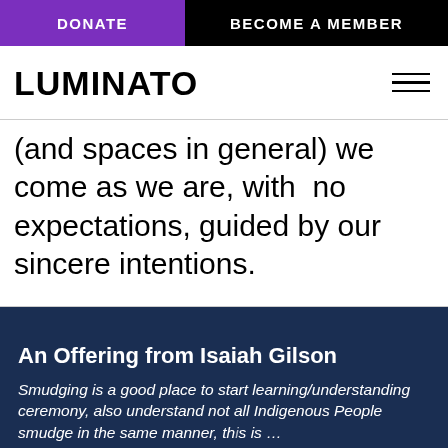DONATE   BECOME A MEMBER
LUMINATO
(and spaces in general) we come as we are, with  no expectations, guided by our sincere intentions.
An Offering from Isaiah Gilson
Smudging is a good place to start learning/understanding ceremony, also understand not all Indigenous People smudge in the same manner, th is …